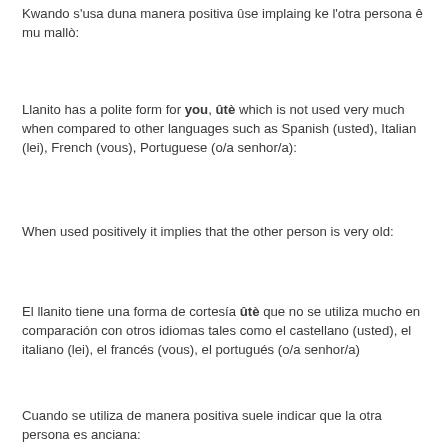Kwando s'usa duna manera positiva ûse implaing ke l'otra persona ê mu mallò:
Llanito has a polite form for you, ûtè which is not used very much when compared to other languages such as Spanish (usted), Italian (lei), French (vous), Portuguese (o/a senhor/a):
When used positively it implies that the other person is very old:
El llanito tiene una forma de cortesía ûtè que no se utiliza mucho en comparación con otros idiomas tales como el castellano (usted), el italiano (lei), el francés (vous), el portugués (o/a senhor/a)
Cuando se utiliza de manera positiva suele indicar que la otra persona es anciana: